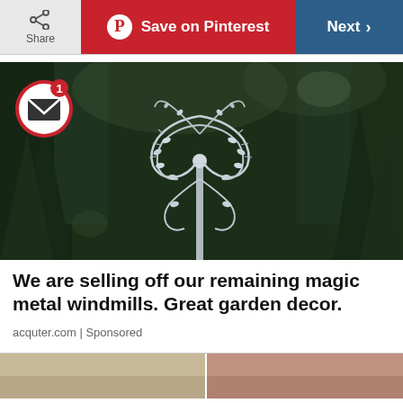Share | Save on Pinterest | Next
[Figure (photo): A decorative metal windmill/kinetic sculpture with spiraling metal blades against a dark green forested background. A circular notification icon with envelope and badge showing '1' overlays the top-left corner of the image.]
We are selling off our remaining magic metal windmills. Great garden decor.
acquter.com | Sponsored
[Figure (photo): Partial view of two images at the bottom of the page, cropped off.]